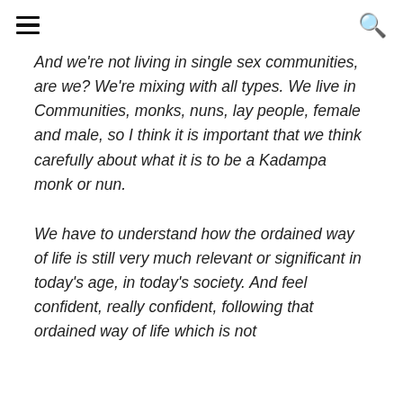[hamburger menu icon] [search icon]
And we're not living in single sex communities, are we? We're mixing with all types. We live in Communities, monks, nuns, lay people, female and male, so I think it is important that we think carefully about what it is to be a Kadampa monk or nun.
We have to understand how the ordained way of life is still very much relevant or significant in today's age, in today's society. And feel confident, really confident, following that ordained way of life which is not